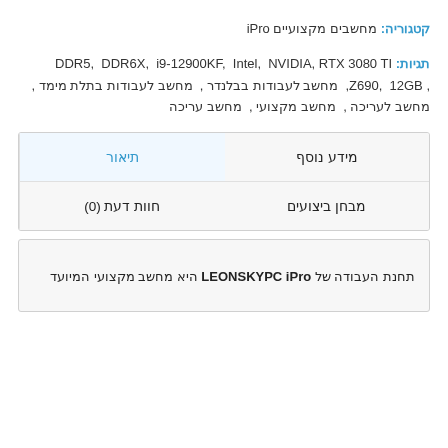קטגוריה: מחשבים מקצועיים iPro
תגיות: DDR5, DDR6X, i9-12900KF, Intel, NVIDIA, RTX 3080 TI, Z690, 12GB, מחשב לעבודות בבלנדר, מחשב לעבודות בתלת מימד, מחשב לעריכה, מחשב מקצועי, מחשב עריכה
| תיאור | מידע נוסף | חוות דעת (0) | מבחן ביצועים |
| --- | --- | --- | --- |
תחנת העבודה של LEONSKYPC iPro היא מחשב מקצועי המיועד